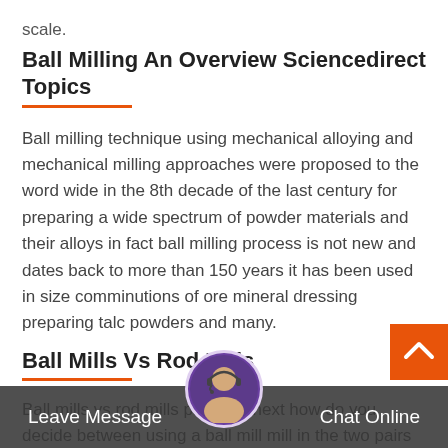scale.
Ball Milling An Overview Sciencedirect Topics
Ball milling technique using mechanical alloying and mechanical milling approaches were proposed to the word wide in the 8th decade of the last century for preparing a wide spectrum of powder materials and their alloys in fact ball milling process is not new and dates back to more than 150 years it has been used in size comminutions of ore mineral dressing preparing talc powders and many.
Ball Mills Vs Rod Mills
Ball mills vs rod mills previous next how do you decide between using a ball mill in the two pairs of tests shown in table 12 the relative deportment of large